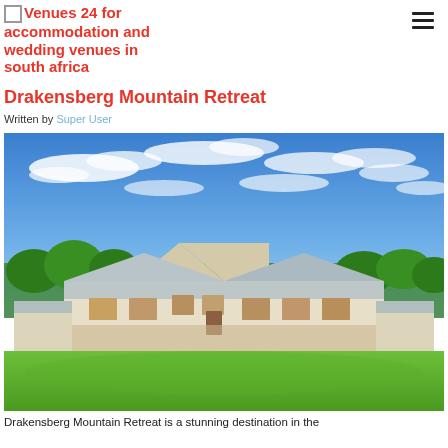Venues 24 for accommodation and wedding venues in south africa
Drakensberg Mountain Retreat
Written by Super User
[Figure (photo): Exterior photo of Drakensberg Mountain Retreat building — a long white farmhouse-style structure with Cape Dutch gabled roof, set on a green lawn under a dramatic blue sky with scattered white clouds and green trees in the background.]
Drakensberg Mountain Retreat is a stunning destination in the